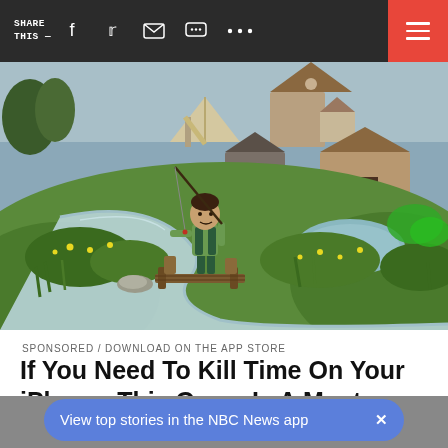SHARE THIS —  [social icons] [menu]
[Figure (screenshot): 3D animated video game screenshot showing a cartoon character fishing on a wooden dock beside a winding river, with a fantasy village in the background including a watermill, barn, and tent]
SPONSORED / DOWNLOAD ON THE APP STORE
If You Need To Kill Time On Your iPhone, This Game Is A Must-Have.
View top stories in the NBC News app  ×